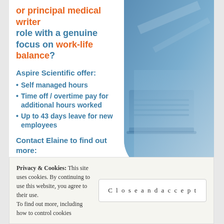or principal medical writer role with a genuine focus on work-life balance?
Aspire Scientific offer:
Self managed hours
Time off / overtime pay for additional hours worked
Up to 43 days leave for new employees
Contact Elaine to find out more:
elaine.stanway@aspire-scientific.com
[Figure (photo): Blue-toned stock photo of a laptop on a desk, used as decorative background in ad panel]
Privacy & Cookies: This site uses cookies. By continuing to use this website, you agree to their use. To find out more, including how to control cookies